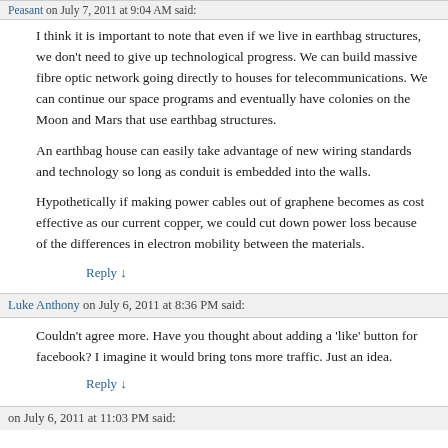Peasant on July 7, 2011 at 9:04 AM said:
I think it is important to note that even if we live in earthbag structures, we don't need to give up technological progress. We can build massive fibre optic network going directly to houses for telecommunications. We can continue our space programs and eventually have colonies on the Moon and Mars that use earthbag structures.
An earthbag house can easily take advantage of new wiring standards and technology so long as conduit is embedded into the walls.
Hypothetically if making power cables out of graphene becomes as cost effective as our current copper, we could cut down power loss because of the differences in electron mobility between the materials.
Reply ↓
Luke Anthony on July 6, 2011 at 8:36 PM said:
Couldn't agree more. Have you thought about adding a 'like' button for facebook? I imagine it would bring tons more traffic. Just an idea.
Reply ↓
on July 6, 2011 at 11:03 PM said: